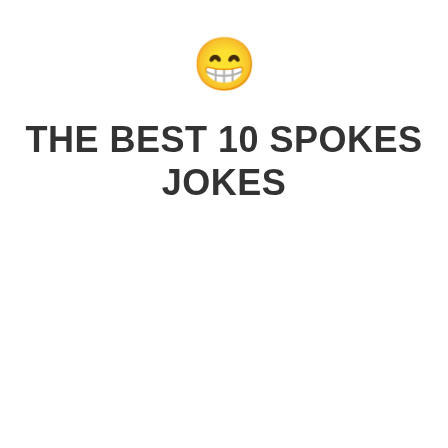[Figure (illustration): Yellow smiley face emoji with wide grin and closed happy eyes]
THE BEST 10 SPOKES JOKES